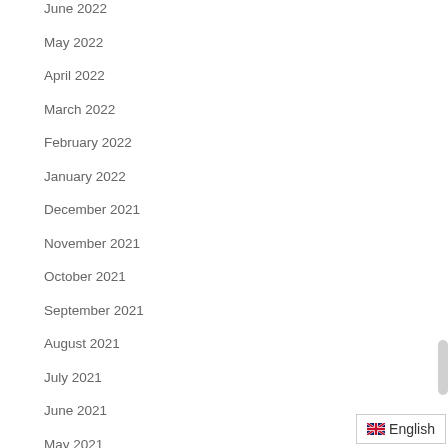June 2022
May 2022
April 2022
March 2022
February 2022
January 2022
December 2021
November 2021
October 2021
September 2021
August 2021
July 2021
June 2021
May 2021
April 2021
en English